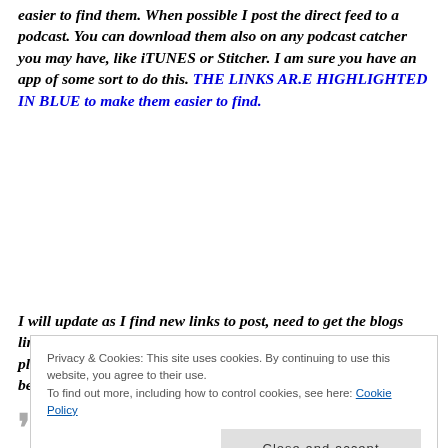easier to find them. When possible I post the direct feed to a podcast. You can download them also on any podcast catcher you may have, like iTUNES or Stitcher. I am sure you have an app of some sort to do this. THE LINKS AR.E HIGHLIGHTED IN BLUE to make them easier to find.
I will update as I find new links to post, need to get the blogs linked up to the pod-caster. IF YOU find some new podcast please add a link to the comments on this post. I wish I was a better programmer so I could make
Privacy & Cookies: This site uses cookies. By continuing to use this website, you agree to their use. To find out more, including how to control cookies, see here: Cookie Policy
Close and accept
For those new to podcasting you